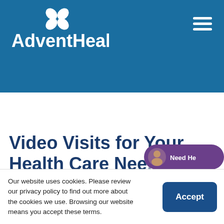[Figure (logo): AdventHealth logo with white four-petal flower icon above the text 'AdventHealth' in white bold letters on blue background]
[Figure (illustration): Blue and green angular decorative shapes forming a header banner with a green triangle at the bottom left]
Video Visits for Your Health Care Nee...
Our website uses cookies. Please review our privacy policy to find out more about the cookies we use. Browsing our website means you accept these terms.